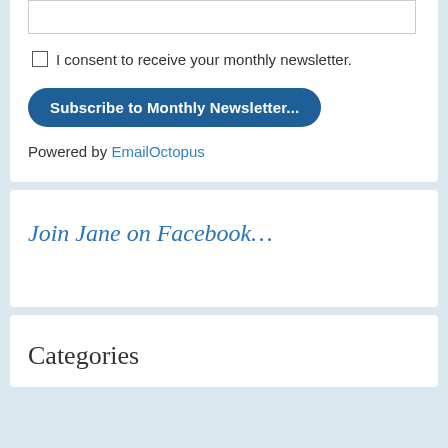I consent to receive your monthly newsletter.
Subscribe to Monthly Newsletter...
Powered by EmailOctopus
Join Jane on Facebook…
Categories